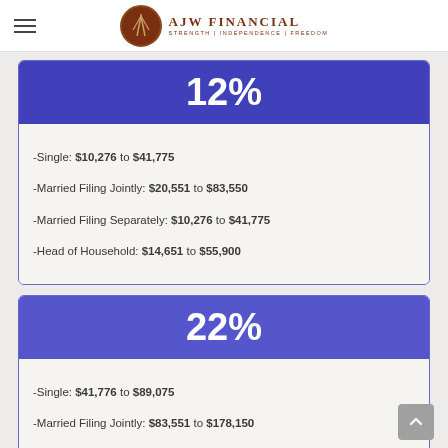AJW Financial — Strength | Independence | Freedom
12%
-Single: $10,276 to $41,775
-Married Filing Jointly: $20,551 to $83,550
-Married Filing Separately: $10,276 to $41,775
-Head of Household: $14,651 to $55,900
22%
-Single: $41,776 to $89,075
-Married Filing Jointly: $83,551 to $178,150
-Married Filing Separately: $41,776 to $89,075
-Head of Household: $55,901 to $89,050